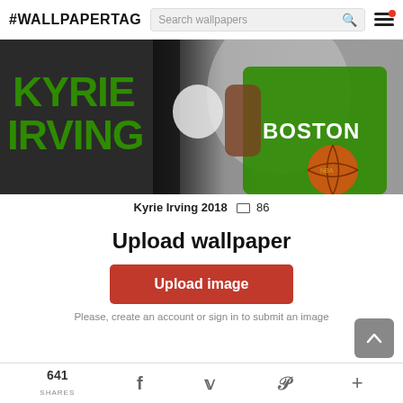#WALLPAPERTAG  Search wallpapers
[Figure (photo): Kyrie Irving in Boston Celtics green jersey holding a basketball, with large green text KYRIE IRVING on dark background]
Kyrie Irving 2018  86
Upload wallpaper
Upload image
Please, create an account or sign in to submit an image
641 SHARES  f  t  P  +